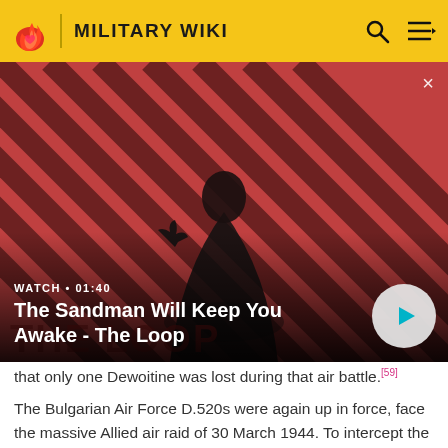MILITARY WIKI
[Figure (screenshot): Video thumbnail overlay showing a dark-cloaked figure with a raven on their shoulder against a red diagonal-striped background. Video title: 'The Sandman Will Keep You Awake - The Loop'. Watch duration: 01:40. Play button visible bottom-right.]
WATCH • 01:40
The Sandman Will Keep You Awake - The Loop
that only one Dewoitine was lost during that air battle.[59]
The Bulgarian Air Force D.520s were again up in force, face the massive Allied air raid of 30 March 1944. To intercept the 450 bombers (B-17 Flying Fortresses, B-24s and Handley Page Halifaxes) escorted by 150 P-38s, the